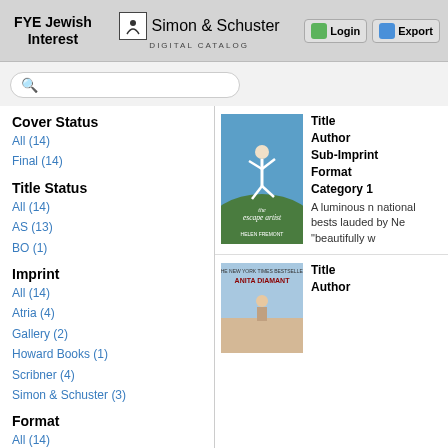FYE Jewish Interest — Simon & Schuster Digital Catalog — Login — Export
Cover Status
All (14)
Final (14)
Title Status
All (14)
AS (13)
BO (1)
Imprint
All (14)
Atria (4)
Gallery (2)
Howard Books (1)
Scribner (4)
Simon & Schuster (3)
Format
All (14)
Hardcover (2)
[Figure (photo): Book cover: The Escape Artist by Helen Fremont — person leaping against blue sky]
Title
Author
Sub-Imprint
Format
Category 1
A luminous n... national bests... lauded by Ne... "beautifully w...
[Figure (photo): Book cover: Anita Diamant book with child on beach]
Title
Author